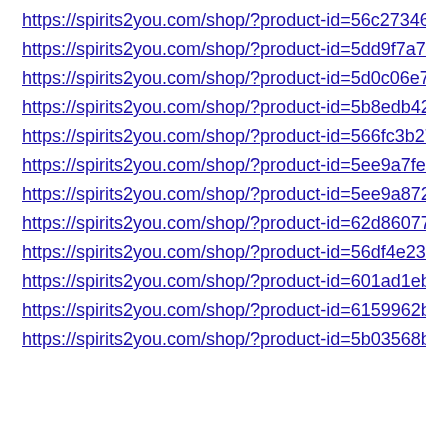https://spirits2you.com/shop/?product-id=56c27346/562...
https://spirits2you.com/shop/?product-id=5dd9f7a72c5e...
https://spirits2you.com/shop/?product-id=5d0c06e7e144...
https://spirits2you.com/shop/?product-id=5b8edb42b77c...
https://spirits2you.com/shop/?product-id=566fc3b27562...
https://spirits2you.com/shop/?product-id=5ee9a7fe207b...
https://spirits2you.com/shop/?product-id=5ee9a872207b...
https://spirits2you.com/shop/?product-id=62d86077501...
https://spirits2you.com/shop/?product-id=56df4e236970...
https://spirits2you.com/shop/?product-id=601ad1eb8bad...
https://spirits2you.com/shop/?product-id=6159962b362...
https://spirits2you.com/shop/?product-id=5b03568b3f58...